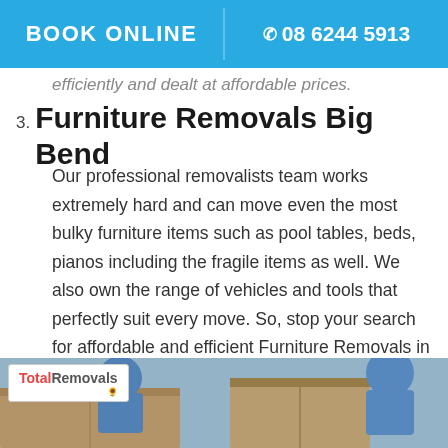BOOK ONLINE  ☎ 08 6244 5913
efficiently and dealt at affordable prices.
3. Furniture Removals Big Bend
Our professional removalists team works extremely hard and can move even the most bulky furniture items such as pool tables, beds, pianos including the fragile items as well. We also own the range of vehicles and tools that perfectly suit every move. So, stop your search for affordable and efficient Furniture Removals in Big Bend and turn your ways to Total Removals.
[Figure (photo): Photo of removalists carrying cardboard boxes, with Total Removals logo overlay in top left corner]